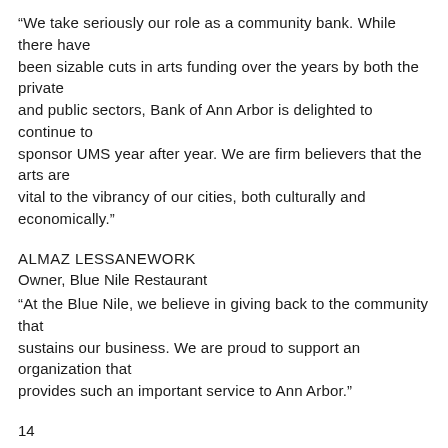“We take seriously our role as a community bank. While there have been sizable cuts in arts funding over the years by both the private and public sectors, Bank of Ann Arbor is delighted to continue to sponsor UMS year after year. We are firm believers that the arts are vital to the vibrancy of our cities, both culturally and economically.”
ALMAZ LESSANEWORK
Owner, Blue Nile Restaurant
“At the Blue Nile, we believe in giving back to the community that sustains our business. We are proud to support an organization that provides such an important service to Ann Arbor.”
14
“As a company with a long-standing commitment to diversity and our community, Comerica is proud to continue its support of UMS. We salute UMS on its efforts to enrich our community